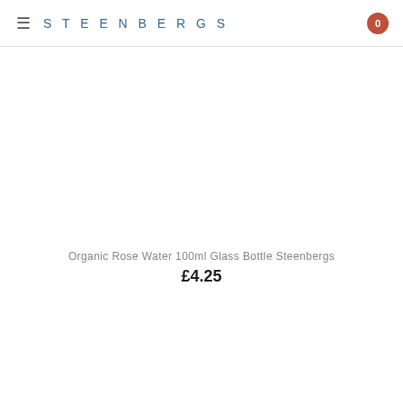≡ STEENBERGS 0
Organic Rose Water 100ml Glass Bottle Steenbergs
£4.25